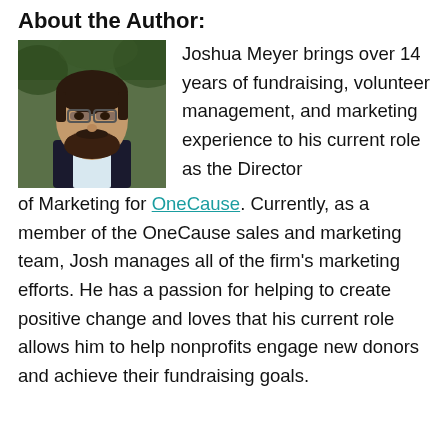About the Author:
[Figure (photo): Headshot photo of Joshua Meyer, a man with dark hair and beard wearing glasses and a dark jacket, with a green blurred background.]
Joshua Meyer brings over 14 years of fundraising, volunteer management, and marketing experience to his current role as the Director of Marketing for OneCause. Currently, as a member of the OneCause sales and marketing team, Josh manages all of the firm's marketing efforts. He has a passion for helping to create positive change and loves that his current role allows him to help nonprofits engage new donors and achieve their fundraising goals.